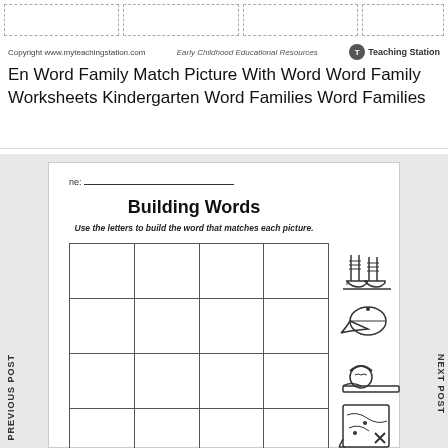Copyright www.myteachingstation.com  Early Childhood Educational Resources  Teaching Station
En Word Family Match Picture With Word Word Family Worksheets Kindergarten Word Families Word Families
ne: ___
Building Words
Use the letters to build the word that matches each picture.
[Figure (illustration): A 4-column by 5-row grid of blank boxes for writing letters, beside illustrations of: rain boots, baseball cap, child sleeping/reading, treasure map, and a partially visible illustration at the bottom.]
PREVIOUS POST
NEXT POST